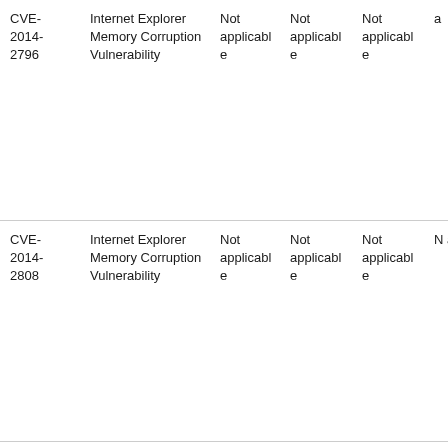| CVE ID | Vulnerability Title | Col3 | Col4 | Col5 | Col6 |
| --- | --- | --- | --- | --- | --- |
| CVE-2014-2796 | Internet Explorer Memory Corruption Vulnerability | Not applicable | Not applicable | Not applicable | a |
| CVE-2014-2808 | Internet Explorer Memory Corruption Vulnerability | Not applicable | Not applicable | Not applicable | N a |
| CVE-2014-2810 | Internet Explorer Memory Corruption Vulnerability (partial) | Not applicable | Not applicable | Not applicable | N a |